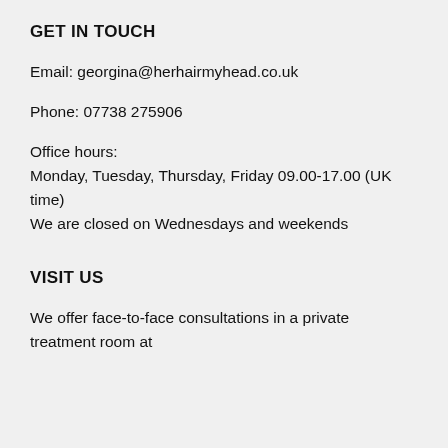GET IN TOUCH
Email: georgina@herhairmyhead.co.uk
Phone: 07738 275906
Office hours:
Monday, Tuesday, Thursday, Friday 09.00-17.00 (UK time)
We are closed on Wednesdays and weekends
VISIT US
We offer face-to-face consultations in a private treatment room at